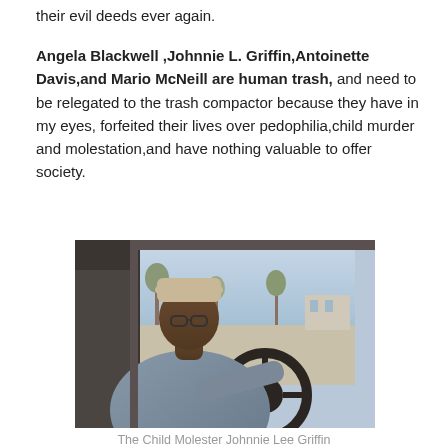their evil deeds ever again.
Angela Blackwell ,Johnnie L. Griffin,Antoinette Davis,and Mario McNeill are human trash, and need to be relegated to the trash compactor because they have in my eyes, forfeited their lives over pedophilia,child murder and molestation,and have nothing valuable to offer society.
[Figure (photo): A man sitting in the driver's seat of a vehicle, wearing a cap and glasses, with a steering wheel visible and a parking lot scene through the window behind him.]
The Child Molester Johnnie Lee Griffin